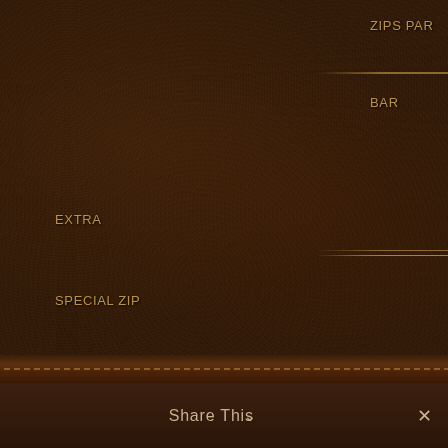ZIPS PAR
PARBAR
BAR
SWEET
HONEYMOON
EXTRA
SPECIAL ZIP
GRAY
LITTLE
COMMANDER
BOOGIE
STAR
SPEEDWAY
BOOGIE 79
Share This ∨  ✕